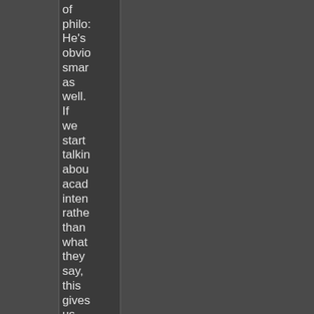of philo: He's obvio smar as well. If we start talkin abou acad inten rathe than what they say, this gives us a whol host of issue First of all,